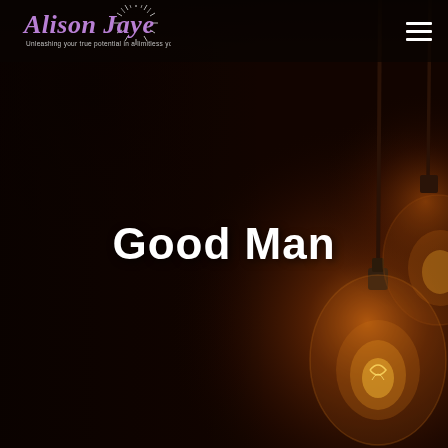[Figure (photo): Dark background photograph showing vintage Edison-style incandescent light bulbs hanging, with warm amber/orange glow emanating from the filaments against a very dark brown background]
Alison Jaye — Unleashing your true potential in a limitless you
Good Man